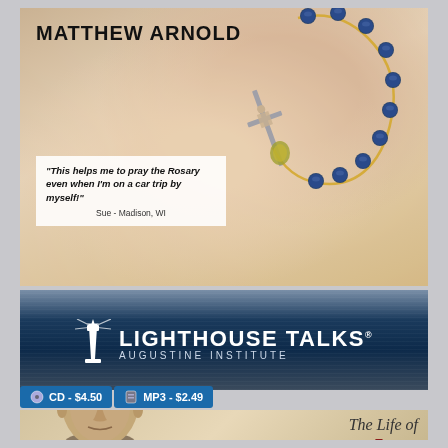MATTHEW ARNOLD
"This helps me to pray the Rosary even when I'm on a car trip by myself!"
Sue - Madison, WI
[Figure (illustration): Rosary beads with blue gemstones and a silver crucifix, draped over a Madonna and child religious illustration background]
[Figure (logo): Lighthouse Talks - Augustine Institute logo with lighthouse icon]
CD - $4.50
MP3 - $2.49
[Figure (illustration): Portrait illustration of Padre Pio, an older man with gray hair]
The Life of Padre Pio